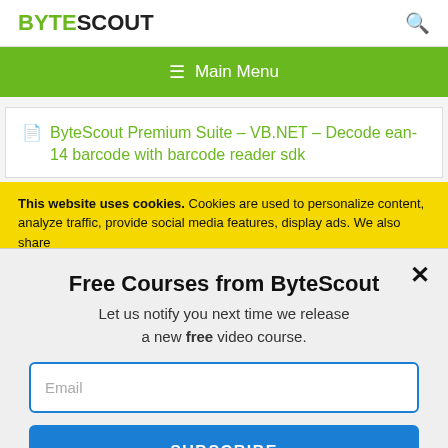BYTESCOUT
≡ Main Menu
ByteScout Premium Suite – VB.NET – Decode ean-14 barcode with barcode reader sdk
This website uses cookies. Cookies are used to personalize content, analyze traffic, provide social media features, display ads. We also share
Free Courses from ByteScout
Let us notify you next time we release a new free video course.
Email
SUBSCRIBE